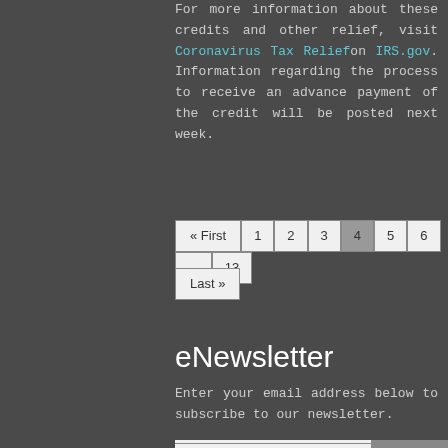For more information about these credits and other relief, visit Coronavirus Tax Relief on IRS.gov. Information regarding the process to receive an advance payment of the credit will be posted next week.
« First 1 2 3 4 5 6 ... 13 Last »
eNewsletter
Enter your email address below to subscribe to our newsletter.